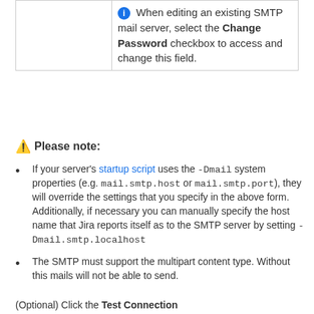|  | When editing an existing SMTP mail server, select the Change Password checkbox to access and change this field. |
⚠ Please note:
If your server's startup script uses the -Dmail system properties (e.g. mail.smtp.host or mail.smtp.port), they will override the settings that you specify in the above form. Additionally, if necessary you can manually specify the host name that Jira reports itself as to the SMTP server by setting -Dmail.smtp.localhost
The SMTP must support the multipart content type. Without this mails will not be able to send.
(Optional) Click the Test Connection